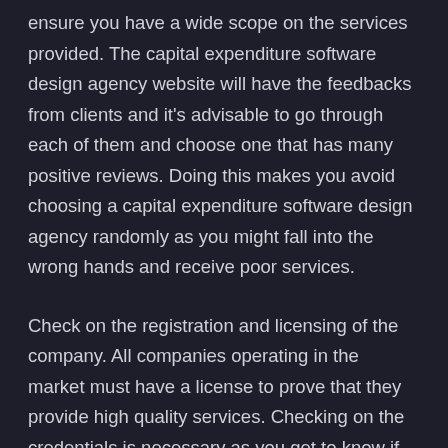ensure you have a wide scope on the services provided. The capital expenditure software design agency website will have the feedbacks from clients and it's advisable to go through each of them and choose one that has many positive reviews. Doing this makes you avoid choosing a capital expenditure software design agency randomly as you might fall into the wrong hands and receive poor services.
Check on the registration and licensing of the company. All companies operating in the market must have a license to prove that they provide high quality services. Checking on the credentials is necessary as you get to know if the capital expenditure software design agency has legit services and that they are permitted to serve clients whenever they have a need. The license of the capital expenditure software design agency should not be